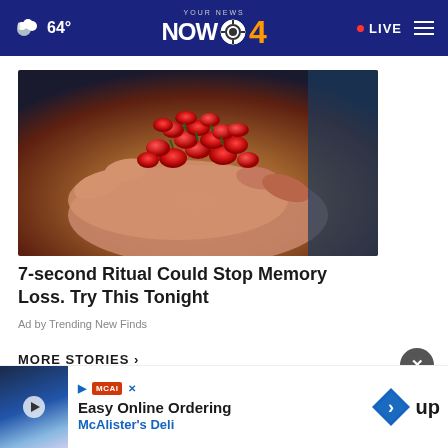64° YOUR NEWS NOW CBS4 • LIVE
[Figure (photo): A pair of hands cupping a collection of small red rose hips or berries]
7-second Ritual Could Stop Memory Loss. Try This Tonight
Ad by Trending New Finds
MORE STORIES ›
[Figure (screenshot): Bottom advertisement banner: Easy Online Ordering - McAlister's Deli with navigation arrow icon]